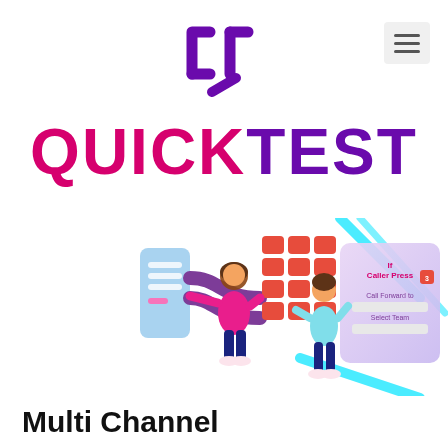[Figure (logo): QuickTest logo: stylized bracket/cursor icon in purple above the text QUICKTEST where QUICK is in pink/magenta and TEST is in dark purple]
[Figure (illustration): Isometric illustration showing two people interacting with a large smartphone/tablet interface displaying a phone menu with options: If Caller Press, Call Forward to, Select Team, with a numeric keypad grid. Teal and purple accent lines in background.]
Multi Channel